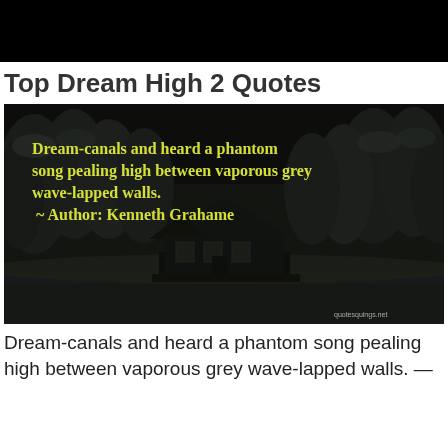Top Dream High 2 Quotes
[Figure (photo): Dark nighttime photo of a snow-covered house and forest with yellow text overlay quoting Kenneth Grahame: 'Dream-canals and heard a phantom song pealing high between vaporous grey wave-lapped walls. ~ Author: Kenneth Grahame']
Dream-canals and heard a phantom song pealing high between vaporous grey wave-lapped walls. —